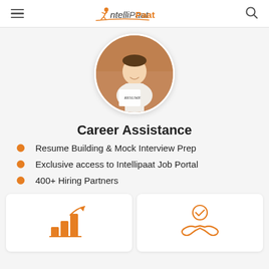IntelliPaat
[Figure (photo): Woman in white shirt holding a resume, circular cropped photo]
Career Assistance
Resume Building & Mock Interview Prep
Exclusive access to Intellipaat Job Portal
400+ Hiring Partners
[Figure (illustration): Orange bar chart with upward arrow icon]
[Figure (illustration): Orange handshake with checkmark icon]